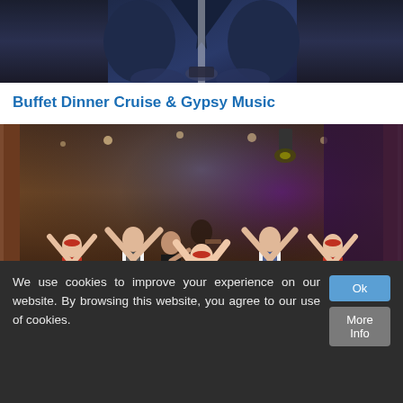[Figure (photo): Top portion of a photo showing a person in a dark suit, partially cropped, with hands visible holding something, dark background with blue tones]
Buffet Dinner Cruise & Gypsy Music
[Figure (photo): Performance photo on a dinner cruise ship interior: seven performers on a wooden floor between set dining tables with orange napkins and candles. Three women in red and white folk dresses with arms raised, three men in dark trousers and white shirts, one man in the background playing violin. Purple stage lighting in background.]
We use cookies to improve your experience on our website. By browsing this website, you agree to our use of cookies.